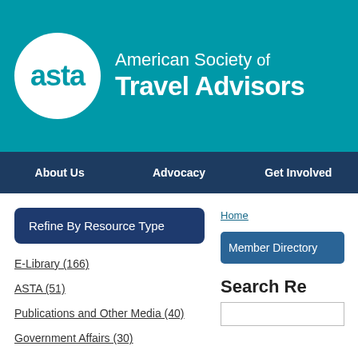[Figure (logo): ASTA logo: white circle with 'asta' text in teal, alongside 'American Society of Travel Advisors' text in white on teal background]
About Us | Advocacy | Get Involved
Refine By Resource Type
E-Library (166)
ASTA (51)
Publications and Other Media (40)
Government Affairs (30)
Technology (18)
Home
Member Directory
Search Re